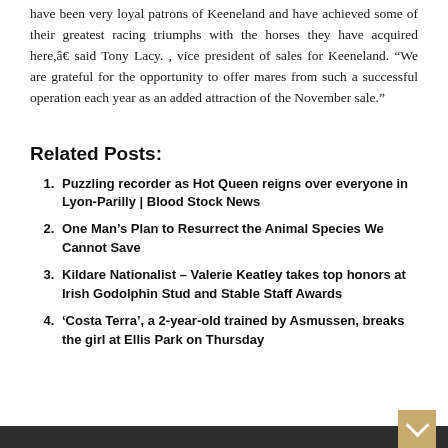have been very loyal patrons of Keeneland and have achieved some of their greatest racing triumphs with the horses they have acquired here,â€ said Tony Lacy. , vice president of sales for Keeneland. “We are grateful for the opportunity to offer mares from such a successful operation each year as an added attraction of the November sale.”
Related Posts:
Puzzling recorder as Hot Queen reigns over everyone in Lyon-Parilly | Blood Stock News
One Man’s Plan to Resurrect the Animal Species We Cannot Save
Kildare Nationalist – Valerie Keatley takes top honors at Irish Godolphin Stud and Stable Staff Awards
‘Costa Terra’, a 2-year-old trained by Asmussen, breaks the girl at Ellis Park on Thursday